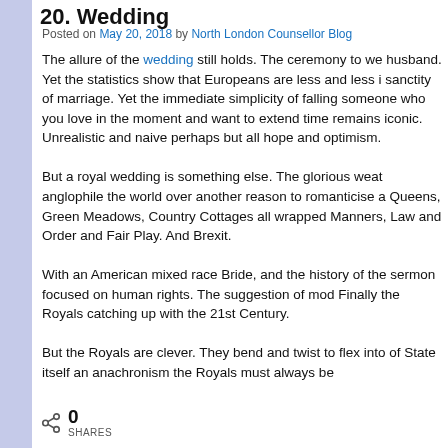20. Wedding
Posted on May 20, 2018 by North London Counsellor Blog
The allure of the wedding still holds. The ceremony to we husband.
Yet the statistics show that Europeans are less and less i sanctity of marriage. Yet the immediate simplicity of falling someone who you love in the moment and want to extend time remains iconic. Unrealistic and naive perhaps but all hope and optimism.

But a royal wedding is something else. The glorious weat anglophile the world over another reason to romanticise a Queens, Green Meadows, Country Cottages all wrapped Manners, Law and Order and Fair Play. And Brexit.

With an American mixed race Bride, and the history of the sermon focused on human rights. The suggestion of mod Finally the Royals catching up with the 21st Century.

But the Royals are clever. They bend and twist to flex into of State itself an anachronism the Royals must always be
0 SHARES